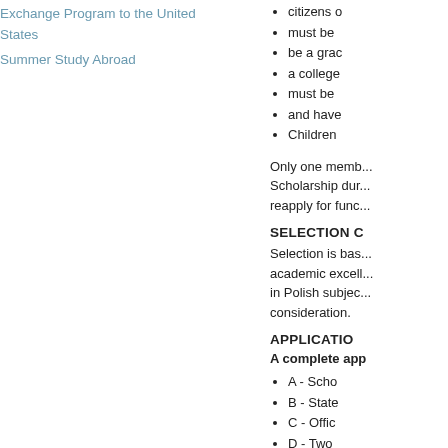Exchange Program to the United States
Summer Study Abroad
citizens o
must be
be a grac
a college
must be
and have
Children
Only one memb... Scholarship dur... reapply for func...
SELECTION C
Selection is bas... academic excell... in Polish subjec... consideration.
APPLICATIO
A complete app
A - Scho
B - State
C - Offic
D - Two